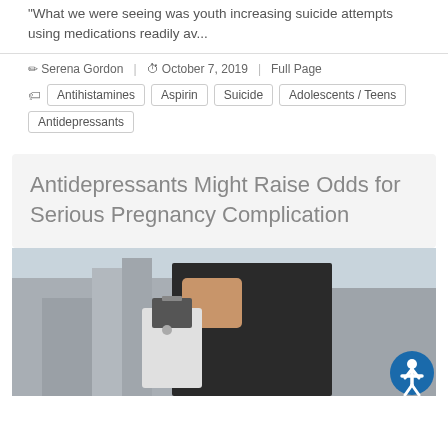"What we were seeing was youth increasing suicide attempts using medications readily av...
Serena Gordon  |  October 7, 2019  |  Full Page
Antihistamines  Aspirin  Suicide  Adolescents / Teens  Antidepressants
Antidepressants Might Raise Odds for Serious Pregnancy Complication
[Figure (photo): Woman in black sleeveless top using a blender in an urban kitchen setting, with a circular accessibility icon in the bottom right corner.]